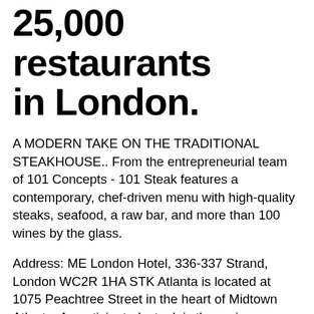25,000 restaurants in London.
A MODERN TAKE ON THE TRADITIONAL STEAKHOUSE.. From the entrepreneurial team of 101 Concepts - 101 Steak features a contemporary, chef-driven menu with high-quality steaks, seafood, a raw bar, and more than 100 wines by the glass.
Address: ME London Hotel, 336-337 Strand, London WC2R 1HA STK Atlanta is located at 1075 Peachtree Street in the heart of Midtown Atlanta. As anticipated, steak is the main attraction. With a female-friendly mindset, STK offers small, medium and large cuts of meat, as well as naturally raised options and market fresh fish entrees. Dress Code Stores.. Ladies Clothing Store. Spring Preview Sale